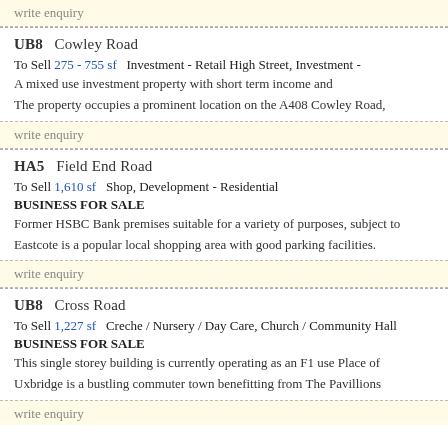write enquiry
UB8   Cowley Road
To Sell  275 - 755 sf   Investment - Retail High Street, Investment -
A mixed use investment property with short term income and
The property occupies a prominent location on the A408 Cowley Road,
write enquiry
HA5   Field End Road
To Sell  1,610 sf   Shop, Development - Residential
BUSINESS FOR SALE
Former HSBC Bank premises suitable for a variety of purposes, subject to
Eastcote is a popular local shopping area with good parking facilities.
write enquiry
UB8   Cross Road
To Sell  1,227 sf   Creche / Nursery / Day Care, Church / Community Hall
BUSINESS FOR SALE
This single storey building is currently operating as an F1 use Place of
Uxbridge is a bustling commuter town benefitting from The Pavillions
write enquiry